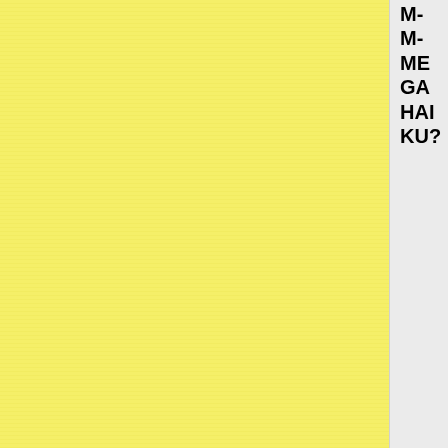[Figure (screenshot): Yellow textured background on the left ~87% of the page, representing a forum sidebar or advertisement background.]
M-
M-
ME
GA
HAI
KU?
[Figure (screenshot): Three small icon buttons (document, hash, question mark) followed by timestamp 'Jan 10, 2013 06:32']
Jan 10, 2013 06:32
Profile
Post H
Rap Sh
QUOTE
sebmojo
Oct 23, 2010